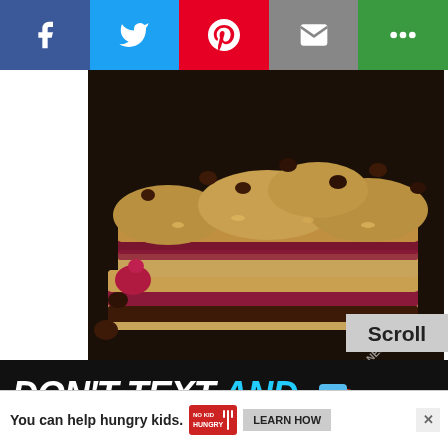[Figure (other): Social media share bar with Facebook (blue), Twitter (light blue), Pinterest (red), Email (grey), and another share button (green) icons across the top]
[Figure (photo): Close-up food photograph of raspberry chocolate chip oat bars stacked, showing layers of oat crumble, raspberry jam, and chocolate. Chocolate chips scattered on top and around. Watermark reads TEXANERIN.COM]
[Figure (infographic): Don't Text and Drive advertisement banner — dark background with white and cyan text 'DON'T TEXT AND' and a car illustration]
[Figure (other): Scroll button overlay in grey]
[Figure (other): Advertisement banner at bottom: 'You can help hungry kids.' with No Kid Hungry logo and LEARN HOW button. Ad label and X close button visible.]